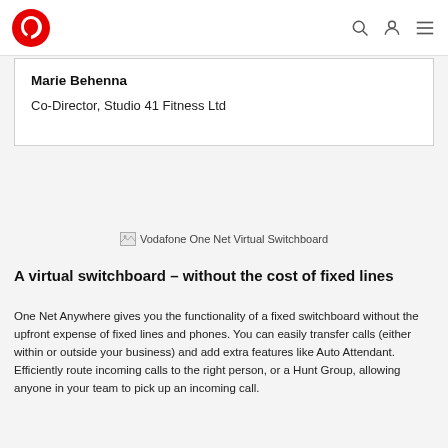Vodafone logo, search icon, user icon, menu icon
Marie Behenna
Co-Director, Studio 41 Fitness Ltd
[Figure (illustration): Vodafone One Net Virtual Switchboard image placeholder]
A virtual switchboard – without the cost of fixed lines
One Net Anywhere gives you the functionality of a fixed switchboard without the upfront expense of fixed lines and phones. You can easily transfer calls (either within or outside your business) and add extra features like Auto Attendant. Efficiently route incoming calls to the right person, or a Hunt Group, allowing anyone in your team to pick up an incoming call.